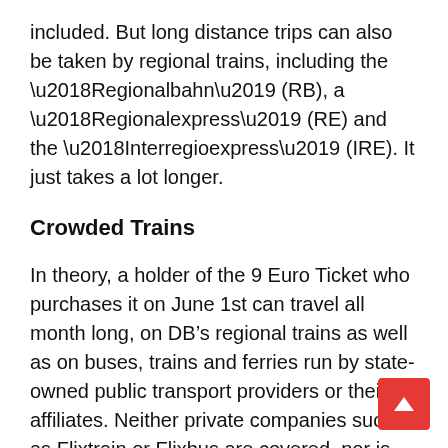included. But long distance trips can also be taken by regional trains, including the ‘Regionalbahn’ (RB), a ‘Regionalexpress’ (RE) and the ‘Interregioexpress’ (IRE). It just takes a lot longer.
Crowded Trains
In theory, a holder of the 9 Euro Ticket who purchases it on June 1st can travel all month long, on DB’s regional trains as well as on buses, trains and ferries run by state-owned public transport providers or their affiliates. Neither private companies such as Flixtrain or Flixbus are covered, nor is any First Class. Tickets for dogs or bicycles need to be purchased separately. Subscribers of public transport companies who